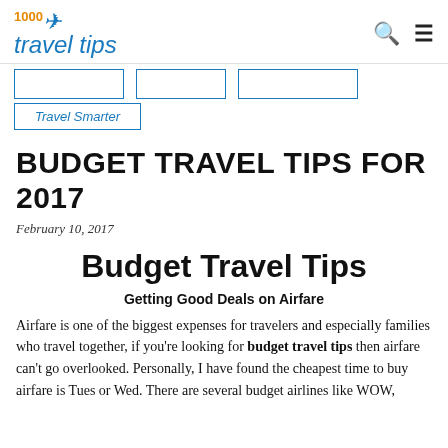1000 travel tips
Travel Smarter
BUDGET TRAVEL TIPS FOR 2017
February 10, 2017
Budget Travel Tips
Getting Good Deals on Airfare
Airfare is one of the biggest expenses for travelers and especially families who travel together, if you're looking for budget travel tips then airfare can't go overlooked. Personally, I have found the cheapest time to buy airfare is Tues or Wed. There are several budget airlines like WOW,